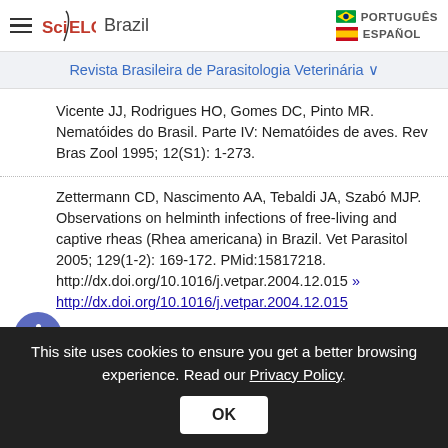SciELO Brazil — PORTUGUÊS / ESPAÑOL
Revista Brasileira de Parasitologia Veterinária
Vicente JJ, Rodrigues HO, Gomes DC, Pinto MR. Nematóides do Brasil. Parte IV: Nematóides de aves. Rev Bras Zool 1995; 12(S1): 1-273.
Zettermann CD, Nascimento AA, Tebaldi JA, Szabó MJP. Observations on helminth infections of free-living and captive rheas (Rhea americana) in Brazil. Vet Parasitol 2005; 129(1-2): 169-172. PMid:15817218. http://dx.doi.org/10.1016/j.vetpar.2004.12.015 » http://dx.doi.org/10.1016/j.vetpar.2004.12.015
This site uses cookies to ensure you get a better browsing experience. Read our Privacy Policy.